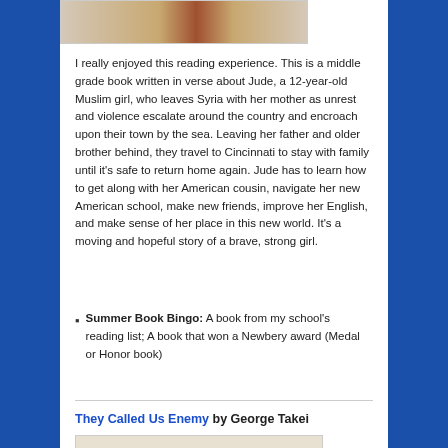[Figure (photo): Book cover image, partial view at top of page]
I really enjoyed this reading experience. This is a middle grade book written in verse about Jude, a 12-year-old Muslim girl, who leaves Syria with her mother as unrest and violence escalate around the country and encroach upon their town by the sea. Leaving her father and older brother behind, they travel to Cincinnati to stay with family until it's safe to return home again. Jude has to learn how to get along with her American cousin, navigate her new American school, make new friends, improve her English, and make sense of her place in this new world. It's a moving and hopeful story of a brave, strong girl.
Summer Book Bingo: A book from my school's reading list; A book that won a Newbery award (Medal or Honor book)
They Called Us Enemy by George Takei
[Figure (photo): Book cover image for They Called Us Enemy, partial view at bottom of page]